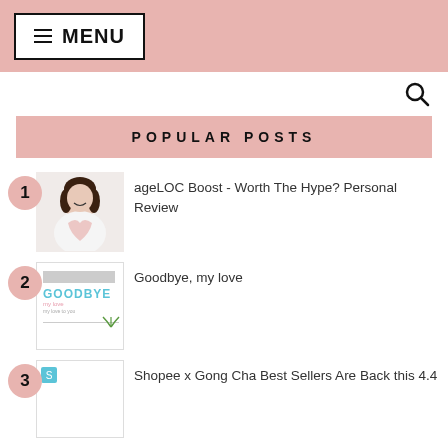≡ MENU
POPULAR POSTS
ageLOC Boost - Worth The Hype? Personal Review
Goodbye, my love
Shopee x Gong Cha Best Sellers Are Back this 4.4